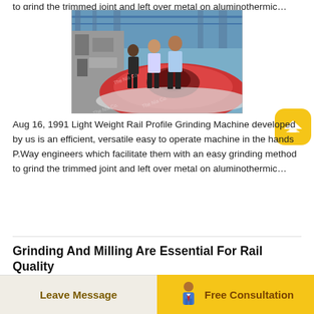to grind the trimmed joint and left over metal on aluminothermic…
[Figure (photo): Industrial photo showing three workers inspecting a large red circular grinding/ring machine in a factory setting, with heavy machinery in the background.]
Aug 16, 1991 Light Weight Rail Profile Grinding Machine developed by us is an efficient, versatile easy to operate machine in the hands of P.Way engineers which facilitate them with an easy grinding method to grind the trimmed joint and left over metal on aluminothermic…
Grinding And Milling Are Essential For Rail Quality
RailGrind. The RailGrind is a high-precision grinding machine for manufacturing compact linear guideways. If the machine is equipped with two grinding stones it can also grind and the profile…
Leave Message   Free Consultation